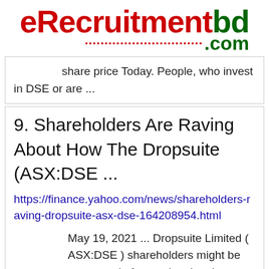[Figure (logo): eRecruitmentbd.com logo with red and green text]
share price Today. People, who invest in DSE or are ...
9. Shareholders Are Raving About How The Dropsuite (ASX:DSE ...
https://finance.yahoo.com/news/shareholders-raving-dropsuite-asx-dse-164208954.html
May 19, 2021 ... Dropsuite Limited ( ASX:DSE ) shareholders might be concerned after seeing the share